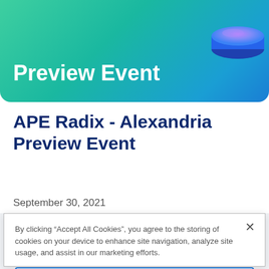[Figure (illustration): Event banner with teal-to-blue gradient background and a 3D blue disc/cylinder graphic in the top-right corner]
Preview Event
APE Radix - Alexandria Preview Event
September 30, 2021
By clicking “Accept All Cookies”, you agree to the storing of cookies on your device to enhance site navigation, analyze site usage, and assist in our marketing efforts.
Cookies Settings
Reject All